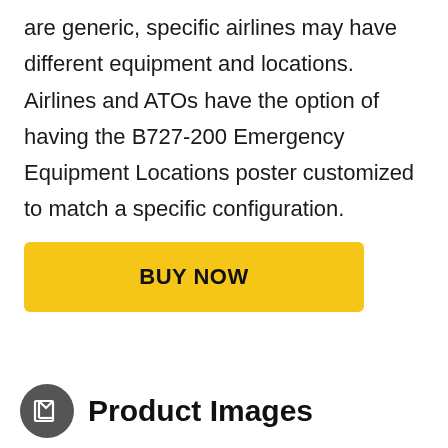are generic, specific airlines may have different equipment and locations. Airlines and ATOs have the option of having the B727-200 Emergency Equipment Locations poster customized to match a specific configuration.
BUY NOW
Product Images